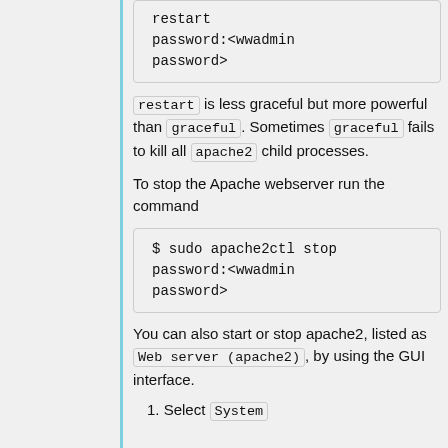restart
password:<wwadmin
password>
restart is less graceful but more powerful than graceful. Sometimes graceful fails to kill all apache2 child processes.
To stop the Apache webserver run the command
$ sudo apache2ctl stop
password:<wwadmin
password>
You can also start or stop apache2, listed as Web server (apache2), by using the GUI interface.
1. Select System